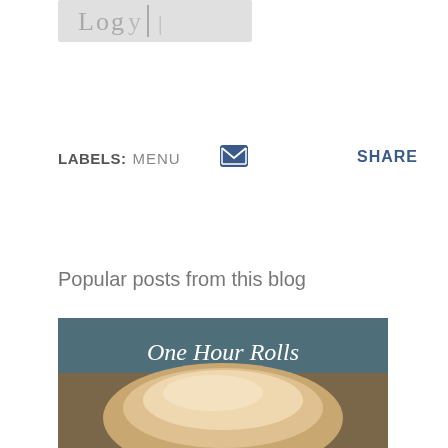[Figure (photo): Partial logo/header image, cropped at top]
LABELS: MENU
[Figure (other): Blue email/envelope icon button]
SHARE
Popular posts from this blog
[Figure (photo): Photo of bread rolls with handwritten text 'One Hour Rolls' on dark chalkboard background]